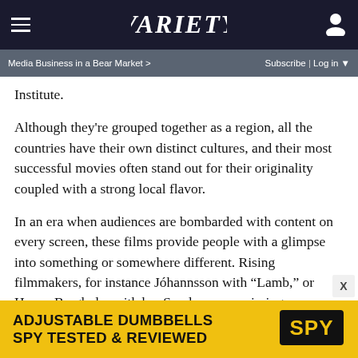VARIETY
Media Business in a Bear Market >    Subscribe | Log in
Institute.
Although they're grouped together as a region, all the countries have their own distinct cultures, and their most successful movies often stand out for their originality coupled with a strong local flavor.
In an era when audiences are bombarded with content on every screen, these films provide people with a glimpse into something or somewhere different. Rising filmmakers, for instance Jóhannsson with “Lamb,” or Hanna Bergholm with her Sundance-premiering “Hatching,” weave drama and genre elements borrowing from folktales and mythical stories from Iceland and Finland, respectively.
[Figure (screenshot): Advertisement banner for adjustable dumbbells from SPY. Yellow background with bold black text reading 'ADJUSTABLE DUMBBELLS SPY TESTED & REVIEWED' and the SPY logo on the right.]